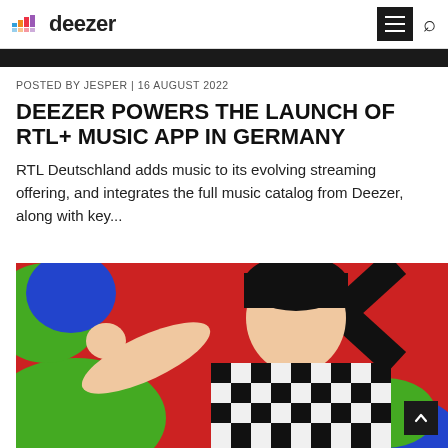deezer
[Figure (photo): Dark horizontal image strip at top of page, partially visible]
POSTED BY JESPER | 16 AUGUST 2022
DEEZER POWERS THE LAUNCH OF RTL+ MUSIC APP IN GERMANY
RTL Deutschland adds music to its evolving streaming offering, and integrates the full music catalog from Deezer, along with key...
[Figure (photo): A young man in a black and white checkered jacket posing against a colorful pop-art background with bold shapes in green, blue, and red]